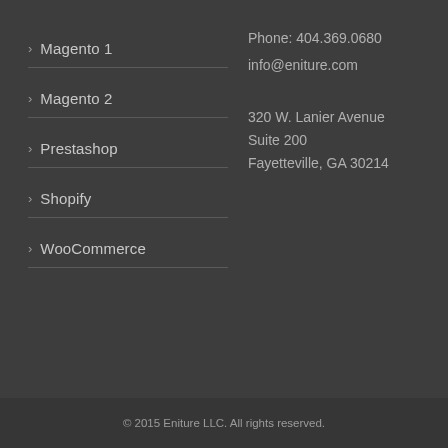> Magento 1
> Magento 2
> Prestashop
> Shopify
> WooCommerce
Phone: 404.369.0680
info@eniture.com

320 W. Lanier Avenue
Suite 200
Fayetteville, GA 30214
© 2015 Eniture LLC. All rights reserved.